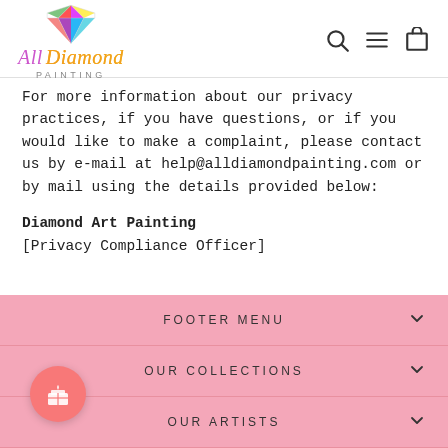[Figure (logo): All Diamond Painting logo with colorful diamond gem icon above stylized text]
For more information about our privacy practices, if you have questions, or if you would like to make a complaint, please contact us by e-mail at help@alldiamondpainting.com or by mail using the details provided below:
Diamond Art Painting
[Privacy Compliance Officer]
FOOTER MENU
OUR COLLECTIONS
OUR ARTISTS